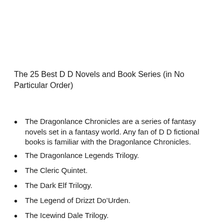The 25 Best D D Novels and Book Series (in No Particular Order)
The Dragonlance Chronicles are a series of fantasy novels set in a fantasy world. Any fan of D D fictional books is familiar with the Dragonlance Chronicles.
The Dragonlance Legends Trilogy.
The Cleric Quintet.
The Dark Elf Trilogy.
The Legend of Drizzt Do’Urden.
The Icewind Dale Trilogy.